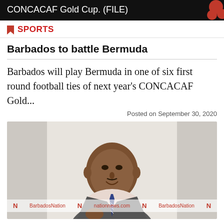CONCACAF Gold Cup. (FILE)
SPORTS
Barbados to battle Bermuda
Barbados will play Bermuda in one of six first round football ties of next year's CONCACAF Gold...
Posted on September 30, 2020
[Figure (photo): A man in a grey suit and striped tie speaking, photographed against a light background, with Barbados Nation watermark]